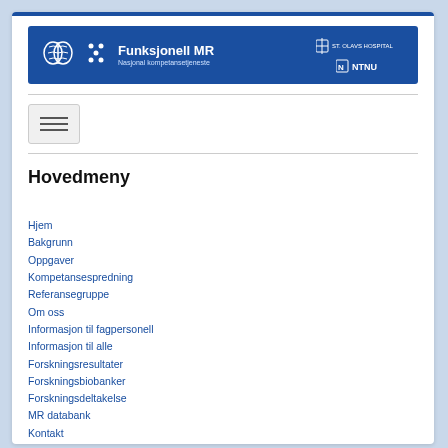[Figure (logo): Funksjonell MR Nasjonal kompetansetjeneste banner with brain icon, dots, St. Olavs Hospital and NTNU logos on blue background]
[Figure (other): Hamburger menu button with three horizontal lines]
Hovedmeny
Hjem
Bakgrunn
Oppgaver
Kompetansespredning
Referansegruppe
Om oss
Informasjon til fagpersonell
Informasjon til alle
Forskningsresultater
Forskningsbiobanker
Forskningsdeltakelse
MR databank
Kontakt